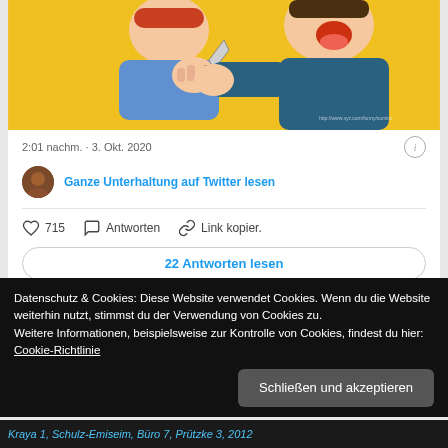[Figure (illustration): Comic-style cartoon illustration showing two characters on a yellow background — one in blue holding a knife, one in dark blue/teal shirt, both appear aggressive]
2:01 nachm. · 3. Okt. 2020
Ganze Unterhaltung auf Twitter lesen
715  Antworten  Link kopier.
22 Antworten lesen
Datenschutz & Cookies: Diese Website verwendet Cookies. Wenn du die Website weiterhin nutzt, stimmst du der Verwendung von Cookies zu.
Weitere Informationen, beispielsweise zur Kontrolle von Cookies, findest du hier: Cookie-Richtlinie
Schließen und akzeptieren
Kraya 1, Schulz-Emiseim, Büro 7, Prützke 3, 2012